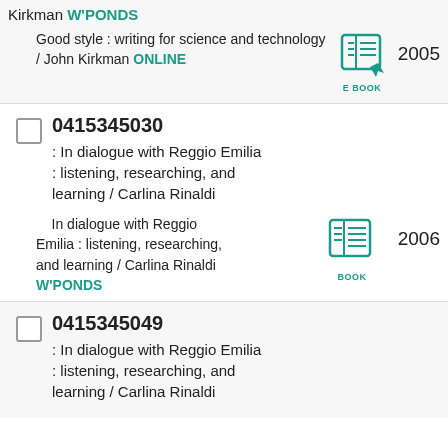Kirkman W'PONDS
Good style : writing for science and technology / John Kirkman ONLINE 2005
0415345030
: In dialogue with Reggio Emilia : listening, researching, and learning / Carlina Rinaldi
In dialogue with Reggio Emilia : listening, researching, and learning / Carlina Rinaldi W'PONDS 2006
0415345049
: In dialogue with Reggio Emilia : listening, researching, and learning / Carlina Rinaldi